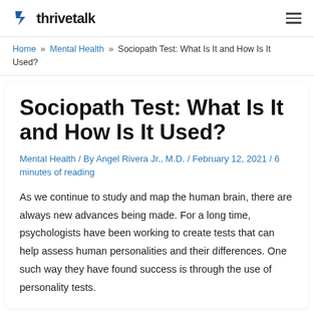thrivetalk
Home » Mental Health » Sociopath Test: What Is It and How Is It Used?
Sociopath Test: What Is It and How Is It Used?
Mental Health / By Angel Rivera Jr., M.D. / February 12, 2021 / 6 minutes of reading
As we continue to study and map the human brain, there are always new advances being made. For a long time, psychologists have been working to create tests that can help assess human personalities and their differences. One such way they have found success is through the use of personality tests.